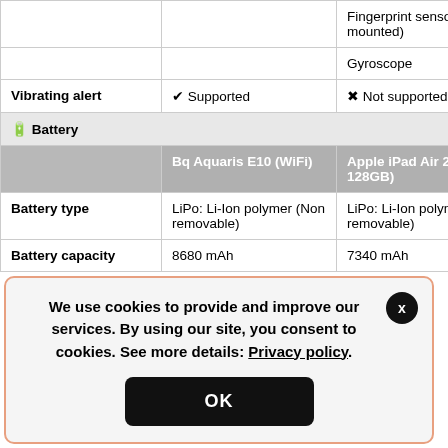|  | Bq Aquaris E10 (WiFi) | Apple iPad Air 2 (4G 128GB) |
| --- | --- | --- |
|  |  | Fingerprint sensor (front-mounted) |
|  |  | Gyroscope |
| Vibrating alert | ✔ Supported | ✖ Not supported |
| 🔋 Battery |  |  |
|  | Bq Aquaris E10 (WiFi) | Apple iPad Air 2 (4G 128GB) |
| Battery type | LiPo: Li-Ion polymer (Non removable) | LiPo: Li-Ion polymer (Non removable) |
| Battery capacity | 8680 mAh | 7340 mAh |
We use cookies to provide and improve our services. By using our site, you consent to cookies. See more details: Privacy policy.